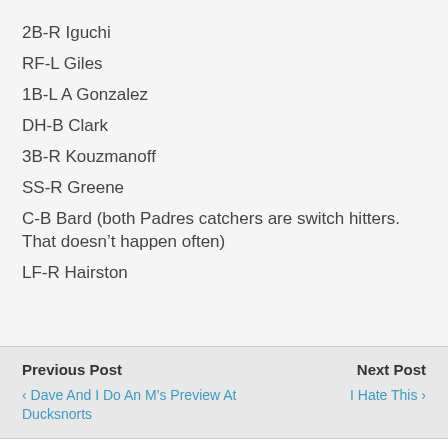2B-R Iguchi
RF-L Giles
1B-L A Gonzalez
DH-B Clark
3B-R Kouzmanoff
SS-R Greene
C-B Bard (both Padres catchers are switch hitters. That doesn’t happen often)
LF-R Hairston
Previous Post
‹ Dave And I Do An M’s Preview At Ducksnorts

Next Post
I Hate This ›
164 responses